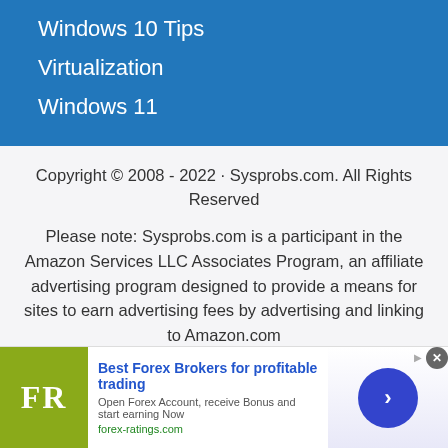Windows 10 Tips
Virtualization
Windows 11
Copyright © 2008 - 2022 · Sysprobs.com. All Rights Reserved
Please note: Sysprobs.com is a participant in the Amazon Services LLC Associates Program, an affiliate advertising program designed to provide a means for sites to earn advertising fees by advertising and linking to Amazon.com
[Figure (screenshot): Advertisement banner for forex-ratings.com featuring FR logo, text 'Best Forex Brokers for profitable trading', subtitle 'Open Forex Account, receive Bonus and start earning Now', and a blue arrow circle button]